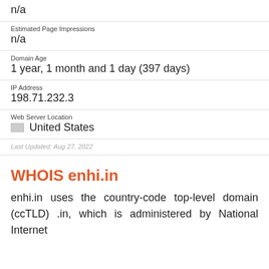n/a
Estimated Page Impressions
n/a
Domain Age
1 year, 1 month and 1 day (397 days)
IP Address
198.71.232.3
Web Server Location
🇺🇸 United States
Last Updated: Aug 27, 2022
WHOIS enhi.in
enhi.in uses the country-code top-level domain (ccTLD) .in, which is administered by National Internet